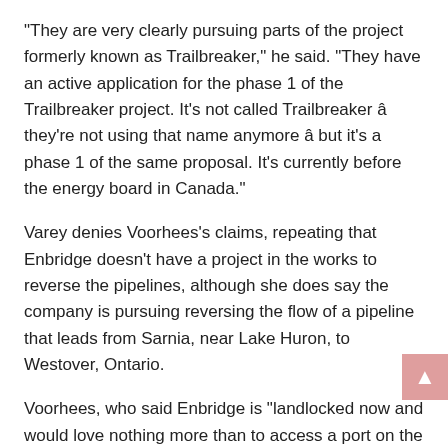“They are very clearly pursuing parts of the project formerly known as Trailbreaker,” he said. “They have an active application for the phase 1 of the Trailbreaker project. It’s not called Trailbreaker â they’re not using that name anymore â but it’s a phase 1 of the same proposal. It’s currently before the energy board in Canada.”
Varey denies Voorhees’s claims, repeating that Enbridge doesn’t have a project in the works to reverse the pipelines, although she does say the company is pursuing reversing the flow of a pipeline that leads from Sarnia, near Lake Huron, to Westover, Ontario.
Voorhees, who said Enbridge is “landlocked now and would love nothing more than to access a port on the Atlantic,” said the Sarnia-to-Westover reversal is the first phase of what he believes is a full reversal all the way to Montreal and Portland.